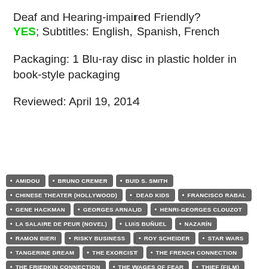Deaf and Hearing-impaired Friendly?
YES; Subtitles: English, Spanish, French
Packaging: 1 Blu-ray disc in plastic holder in book-style packaging
Reviewed: April 19, 2014
AMIDOU
BRUNO CREMER
BUD S. SMITH
CHINESE THEATER (HOLLYWOOD)
DEAD KIDS
FRANCISCO RABAL
GENE HACKMAN
GEORGES ARNAUD
HENRI-GEORGES CLOUZOT
LA SALAIRE DE PEUR (NOVEL)
LUIS BUÑUEL
NAZARÍN
RAMON BIERI
RISKY BUSINESS
ROY SCHEIDER
STAR WARS
TANGERINE DREAM
THE EXORCIST
THE FRENCH CONNECTION
THE FRIEDKIN CONNECTION
THE WAGES OF FEAR
THIEF (FILM)
TIEMUP TIEMDOWN(I)
TO LIVE AND DIE IN L.A.
WILLIAM GREEN